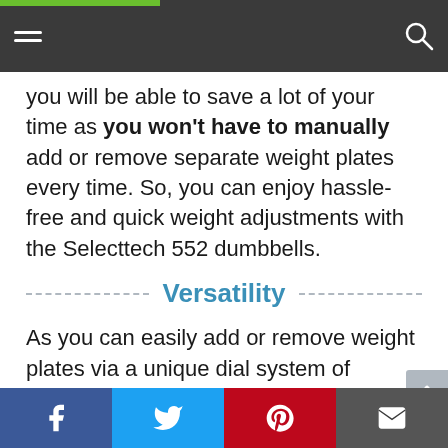Navigation bar with hamburger menu and search icon
you will be able to save a lot of your time as you won't have to manually add or remove separate weight plates every time. So, you can enjoy hassle-free and quick weight adjustments with the Selecttech 552 dumbbells.
Versatility
As you can easily add or remove weight plates via a unique dial system of Selecttech 552, this product can cover a variety of weights between 5-52 pounds. It allows you to replace up to 15 weights at one time. So, this amazing equipment is best suited for strengthening and toning the
Facebook Twitter Pinterest Email share buttons